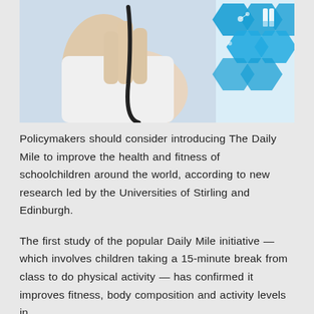[Figure (photo): Photo of a hand holding a stethoscope against a background with blue hexagonal molecular/science graphics with test tube icons]
Policymakers should consider introducing The Daily Mile to improve the health and fitness of schoolchildren around the world, according to new research led by the Universities of Stirling and Edinburgh.
The first study of the popular Daily Mile initiative — which involves children taking a 15-minute break from class to do physical activity — has confirmed it improves fitness, body composition and activity levels in